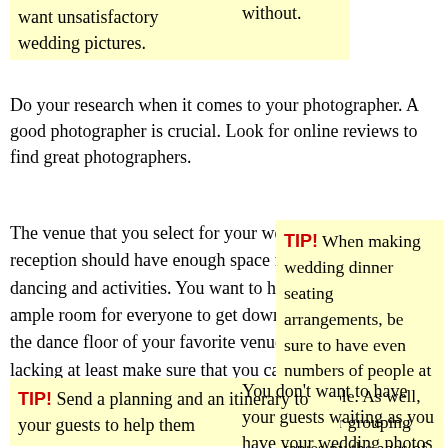want unsatisfactory wedding pictures.
without.
Do your research when it comes to your photographer. A good photographer is crucial. Look for online reviews to find great photographers.
The venue that you select for your wedding reception should have enough space for dancing and activities. You want to have ample room for everyone to get down, so if the dance floor of your favorite venue is lacking at least make sure that you can add some size by moving nearby tables and chairs.
TIP! When making wedding dinner seating arrangements, be sure to have even numbers of people at each table. As well, consider grouping tables by the ages of guests.
TIP! Send a planning and an itinerary to your guests to help them
You don't want to have your guests waiting as you have your wedding photos taken. Take